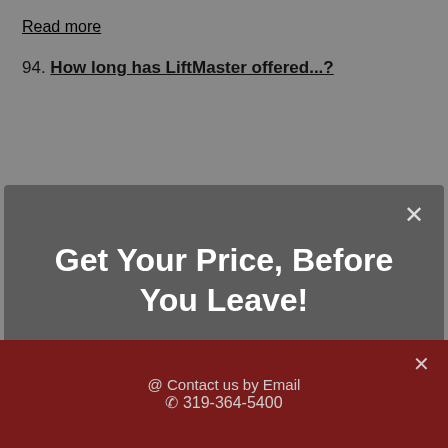Read more
94. How long has LiftMaster offered...?
Get Your Price, Before You Leave!
Let us show you how affordable a new garage door is!
Get a Price!
@ Contact us by Email
319-364-5400